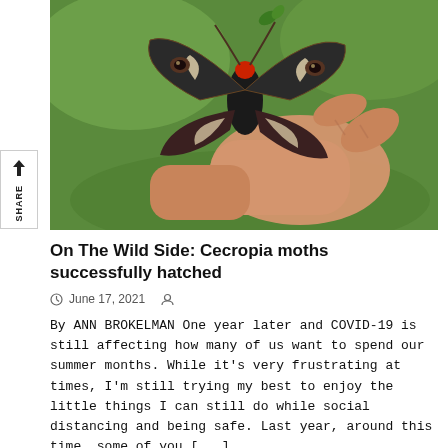[Figure (photo): A large Cecropia moth with dark wings patterned with red and white markings perched on the fingers/hand of a person, against a blurred green background.]
On The Wild Side: Cecropia moths successfully hatched
June 17, 2021
By ANN BROKELMAN One year later and COVID-19 is still affecting how many of us want to spend our summer months. While it's very frustrating at times, I'm still trying my best to enjoy the little things I can still do while social distancing and being safe. Last year, around this time, some of you [...]